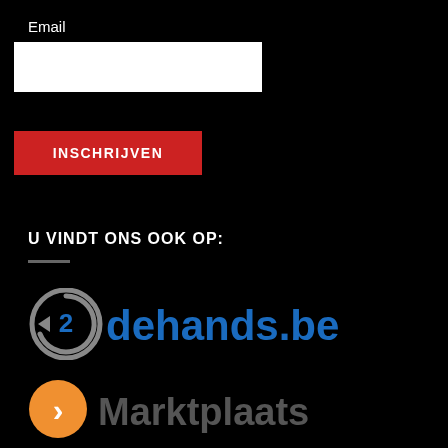Email
[Figure (other): White email input text field]
[Figure (other): Red INSCHRIJVEN button]
U VINDT ONS OOK OP:
[Figure (logo): 2dehands.be logo with circular arrow icon in grey and blue text]
[Figure (logo): Marktplaats logo with orange circle and chevron icon and grey text]